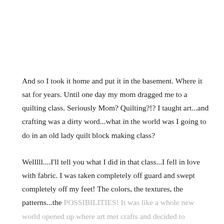And so I took it home and put it in the basement. Where it sat for years. Until one day my mom dragged me to a quilting class. Seriously Mom? Quilting?!? I taught art...and crafting was a dirty word...what in the world was I going to do in an old lady quilt block making class?
Welllll....I'll tell you what I did in that class...I fell in love with fabric. I was taken completely off guard and swept completely off my feet! The colors, the textures, the patterns...the POSSIBILITIES! It was like a whole new world opened up where art met crafts and decided to become best friends.